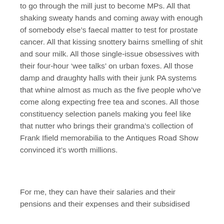to go through the mill just to become MPs. All that shaking sweaty hands and coming away with enough of somebody else's faecal matter to test for prostate cancer. All that kissing snottery bairns smelling of shit and sour milk. All those single-issue obsessives with their four-hour ‘wee talks’ on urban foxes. All those damp and draughty halls with their junk PA systems that whine almost as much as the five people who’ve come along expecting free tea and scones. All those constituency selection panels making you feel like that nutter who brings their grandma’s collection of Frank Ifield memorabilia to the Antiques Road Show convinced it’s worth millions.
For me, they can have their salaries and their pensions and their expenses and their subsidised